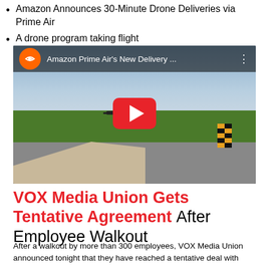Amazon Announces 30-Minute Drone Deliveries via Prime Air
A drone program taking flight
[Figure (screenshot): YouTube video embed thumbnail showing Amazon Prime Air's New Delivery drone flying over a field. Orange Amazon logo circle on top left, video title text, three-dot menu icon, and a red YouTube play button in the center. Background shows green field, cloudy sky, and a concrete pad road.]
VOX Media Union Gets Tentative Agreement After Employee Walkout
After a walkout by more than 300 employees, VOX Media Union announced tonight that they have reached a tentative deal with